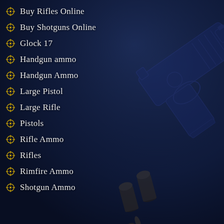Buy Rifles Online
Buy Shotguns Online
Glock 17
Handgun ammo
Handgun Ammo
Large Pistol
Large Rifle
Pistols
Rifle Ammo
Rifles
Rimfire Ammo
Shotgun Ammo